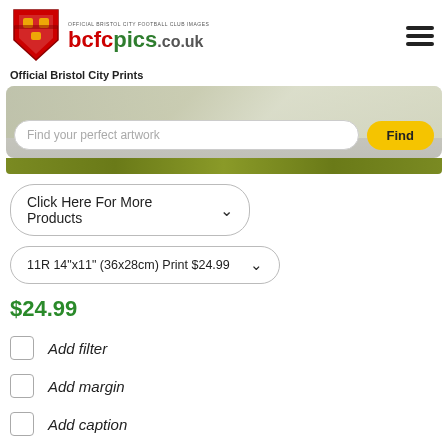[Figure (logo): Bristol City FC shield crest logo in red and white with lions]
bcfcpics.co.uk — Official Bristol City Prints
[Figure (screenshot): Search bar with text 'Find your perfect artwork' and a yellow 'Find' button, over a blurred football pitch background with an olive/green bar below]
Click Here For More Products (dropdown)
11R 14"x11" (36x28cm) Print $24.99 (dropdown)
$24.99
Add filter
Add margin
Add caption